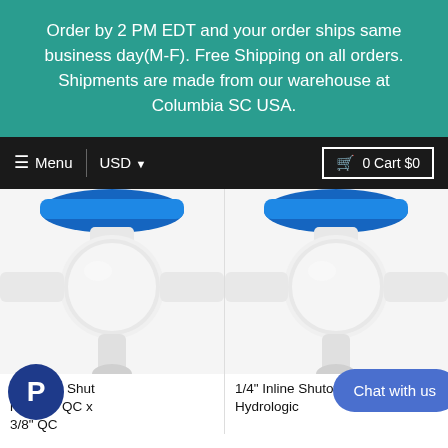Order by 2 PM EDT and your order ships same business day(M-F). Free Shipping on all orders. Shipments are made from our warehouse at Columbia SC USA.
≡ Menu  USD ▾   🛒 0 Cart $0
[Figure (photo): White plastic ball valve with blue handle - Hydrologic Inline Shut Off Valve, 3/8" QC x 3/8" QC]
gic Inline Shut lve, 3/8" QC x 3/8" QC
[Figure (photo): White plastic ball valve with blue handle - 1/4" Inline Shutoff Valve - Hydrologic]
1/4" Inline Shutoff Valve - Hydrologic